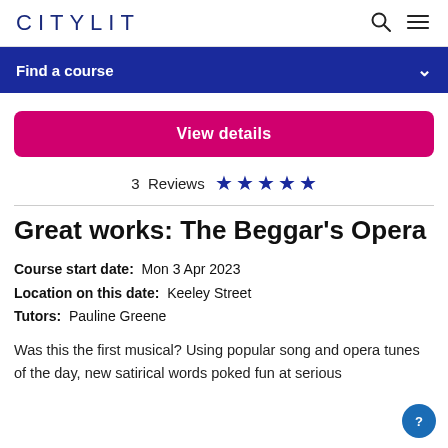CITYLIT
Find a course
View details
3 Reviews ★★★★★
Great works: The Beggar's Opera
Course start date: Mon 3 Apr 2023
Location on this date: Keeley Street
Tutors: Pauline Greene
Was this the first musical? Using popular song and opera tunes of the day, new satirical words poked fun at serious